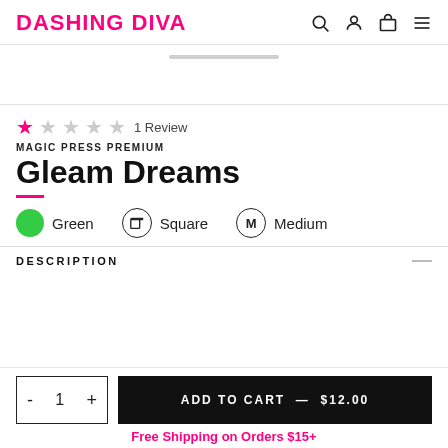DASHING DIVA
[Figure (illustration): Product image area with thumbnail bar at top]
1 Review
MAGIC PRESS PREMIUM
Gleam Dreams
Green  Square  Medium
DESCRIPTION
ADD TO CART — $12.00
Free Shipping on Orders $15+